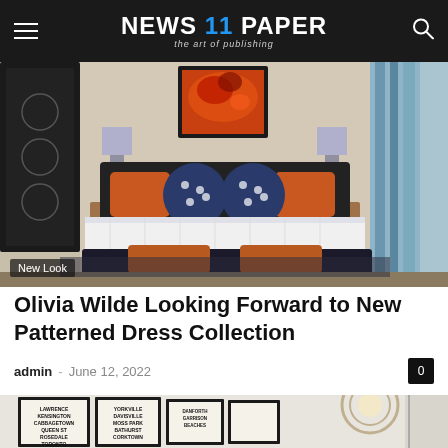NEWS 11 PAPER — the art of publishing
[Figure (photo): Bedroom interior with orange and navy color scheme, featuring a large bed with orange and polka-dot pillows, orange cushioned ottomans at the foot, and an orange abstract painting on the wall]
New Look
Olivia Wilde Looking Forward to New Patterned Dress Collection
admin – June 12, 2022
[Figure (photo): Hallway or corridor interior with framed neighborhood/city district signs on white walls, and a geometric spherical pendant light fixture]